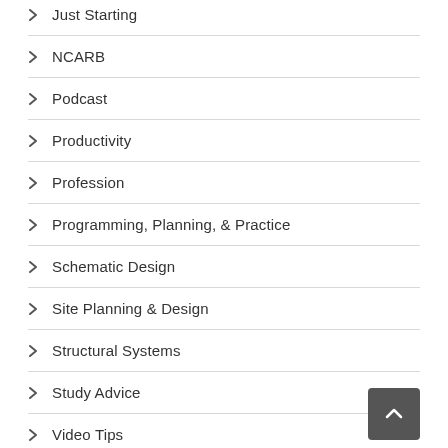Just Starting
NCARB
Podcast
Productivity
Profession
Programming, Planning, & Practice
Schematic Design
Site Planning & Design
Structural Systems
Study Advice
Video Tips